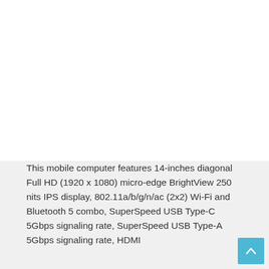This mobile computer features 14-inches diagonal Full HD (1920 x 1080) micro-edge BrightView 250 nits IPS display, 802.11a/b/g/n/ac (2x2) Wi-Fi and Bluetooth 5 combo, SuperSpeed USB Type-C 5Gbps signaling rate, SuperSpeed USB Type-A 5Gbps signaling rate, HDMI